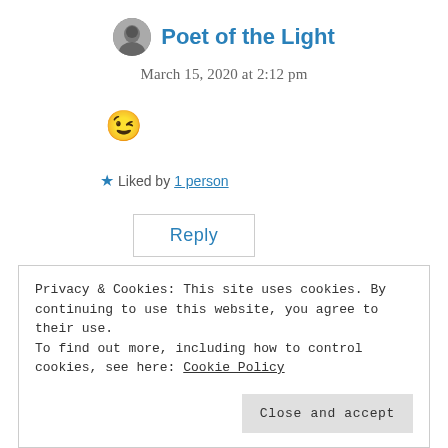Poet of the Light
March 15, 2020 at 2:12 pm
😉
★ Liked by 1 person
Reply
Privacy & Cookies: This site uses cookies. By continuing to use this website, you agree to their use.
To find out more, including how to control cookies, see here: Cookie Policy
Close and accept